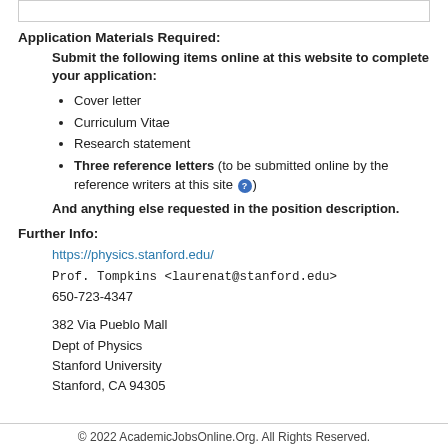Application Materials Required:
Submit the following items online at this website to complete your application:
Cover letter
Curriculum Vitae
Research statement
Three reference letters (to be submitted online by the reference writers at this site ?)
And anything else requested in the position description.
Further Info:
https://physics.stanford.edu/
Prof. Tompkins <laurenat@stanford.edu>
650-723-4347

382 Via Pueblo Mall
Dept of Physics
Stanford University
Stanford, CA 94305
© 2022 AcademicJobsOnline.Org. All Rights Reserved.